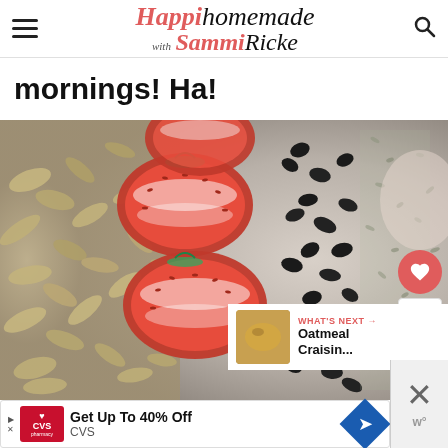Happi homemade with Sammi Ricke — navigation bar with hamburger menu and search icon
mornings! Ha!
[Figure (photo): Close-up photo of sliced strawberries, dark chocolate chips, rolled oats, and hemp seeds arranged in rows on a surface]
WHAT'S NEXT → Oatmeal Craisin...
618
Get Up To 40% Off CVS